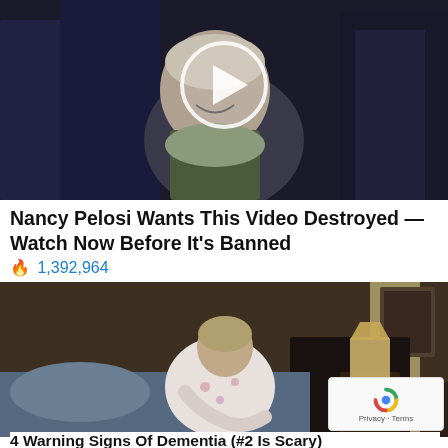[Figure (photo): A smiling woman (Hillary Clinton) surrounded by people, with a circular video play button overlay in the center of the image.]
Nancy Pelosi Wants This Video Destroyed — Watch Now Before It's Banned
🔥 1,392,964
[Figure (photo): An elderly woman sitting on a bed in pajamas, hunched over and looking downward, in a dim bedroom with a lamp on a nightstand.]
4 Warning Signs Of Dementia (#2 Is Scary)